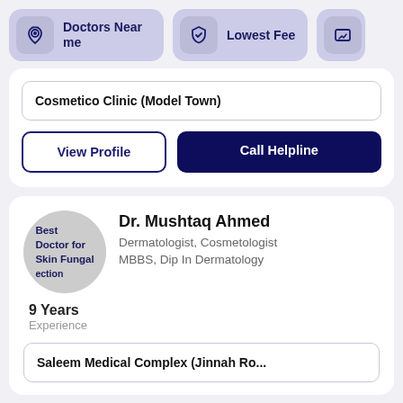[Figure (screenshot): Filter buttons bar with 'Doctors Near me' (location icon), 'Lowest Fee' (shield icon), and a partially visible third button]
Cosmetico Clinic (Model Town)
View Profile
Call Helpline
Dr. Mushtaq Ahmed
Dermatologist, Cosmetologist
MBBS, Dip In Dermatology
9 Years
Experience
Saleem Medical Complex (Jinnah Ro...